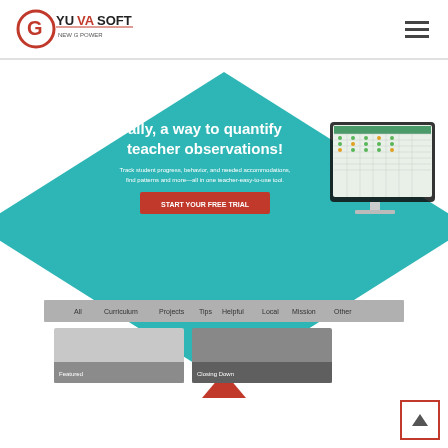[Figure (logo): Gyuvasoft logo - red G icon with GYUVASOFT text in dark/red, tagline NEW G POWER]
[Figure (screenshot): Website hero section with teal diamond shape containing text 'ally, a way to quantify teacher observations!' with subtext about tracking progress, behavior and accommodations, a red CTA button 'START YOUR FREE TRIAL', and a tablet/monitor screenshot on the right]
[Figure (infographic): Red upward pointing triangle/arrow below the hero diamond section]
[Figure (screenshot): Bottom navigation bar strip in gray with menu items and below it content area with two image thumbnails]